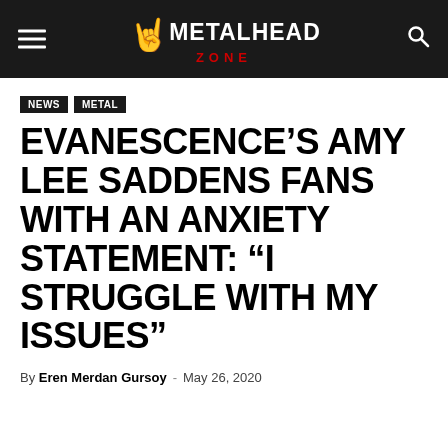METALHEAD ZONE
NEWS  METAL
EVANESCENCE'S AMY LEE SADDENS FANS WITH AN ANXIETY STATEMENT: “I STRUGGLE WITH MY ISSUES”
By Eren Merdan Gursoy - May 26, 2020